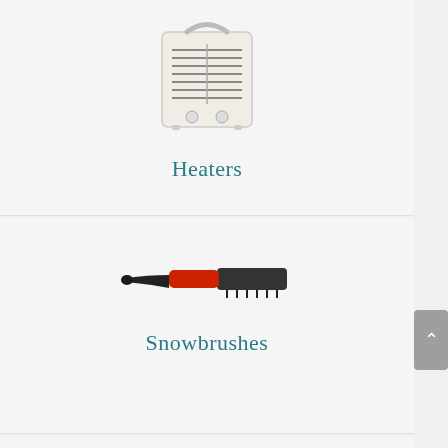[Figure (photo): Small white/cream portable electric space heater with handle on top and vent grilles on front]
Heaters
[Figure (photo): Black snow brush with red handle/grip section]
Snowbrushes
[Figure (photo): Green winter hat with red interior lining and black strap, face opening visible]